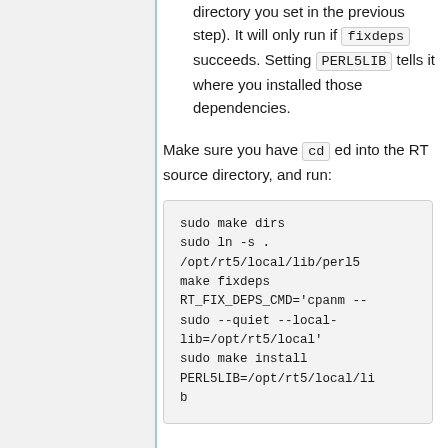directory you set in the previous step). It will only run if fixdeps succeeds. Setting PERL5LIB tells it where you installed those dependencies.
Make sure you have cd ed into the RT source directory, and run:
sudo make dirs
sudo ln -s .
/opt/rt5/local/lib/perl5
make fixdeps
RT_FIX_DEPS_CMD='cpanm --sudo --quiet --local-lib=/opt/rt5/local'
sudo make install
PERL5LIB=/opt/rt5/local/lib
If it works, the command will eventually output a message that says